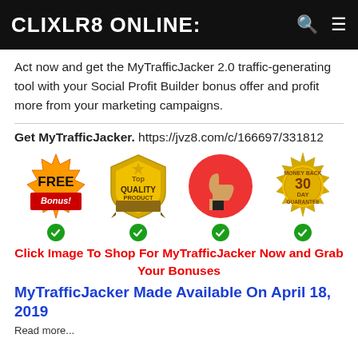CLIXLR8 ONLINE:
Act now and get the MyTrafficJacker 2.0 traffic-generating tool with your Social Profit Builder bonus offer and profit more from your marketing campaigns.
Get MyTrafficJacker. https://jvz8.com/c/166697/331812
[Figure (infographic): Four badges: FREE Bonus, Top Quality Product, Thumbs Up, Money Back 30 Day Guarantee, each with a green checkmark beneath]
Click Image To Shop For MyTrafficJacker Now and Grab Your Bonuses
MyTrafficJacker Made Available On April 18, 2019
Read more...